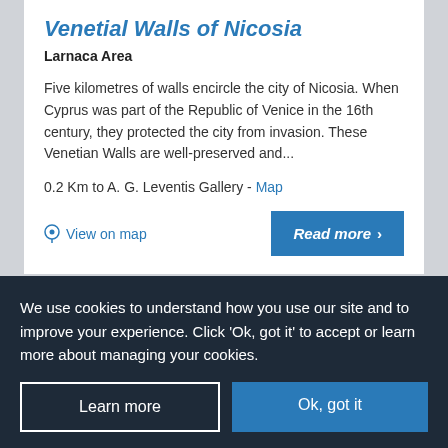Venetial Walls of Nicosia
Larnaca Area
Five kilometres of walls encircle the city of Nicosia. When Cyprus was part of the Republic of Venice in the 16th century, they protected the city from invasion. These Venetian Walls are well-preserved and...
0.2 Km to A. G. Leventis Gallery - Map
View on map
Read more ›
Laiki Geitonia
We use cookies to understand how you use our site and to improve your experience. Click 'Ok, got it' to accept or learn more about managing your cookies.
Learn more
Ok, got it